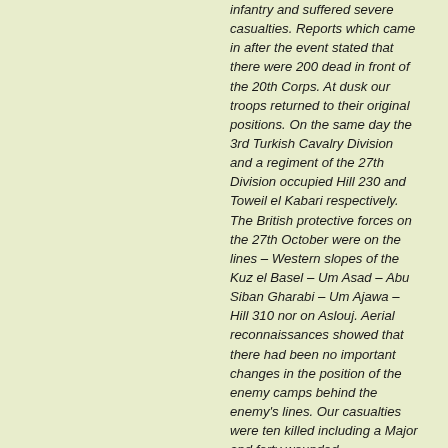infantry and suffered severe casualties. Reports which came in after the event stated that there were 200 dead in front of the 20th Corps. At dusk our troops returned to their original positions. On the same day the 3rd Turkish Cavalry Division and a regiment of the 27th Division occupied Hill 230 and Toweil el Kabari respectively. The British protective forces on the 27th October were on the lines – Western slopes of the Kuz el Basel – Um Asad – Abu Siban Gharabi – Um Ajawa – Hill 310 nor on Aslouj. Aerial reconnaissances showed that there had been no important changes in the position of the enemy camps behind the enemy's lines. Our casualties were ten killed including a Major and forty wounded.
On the Gaza Front during the night of the 26th/27th fighting between patrols took place and